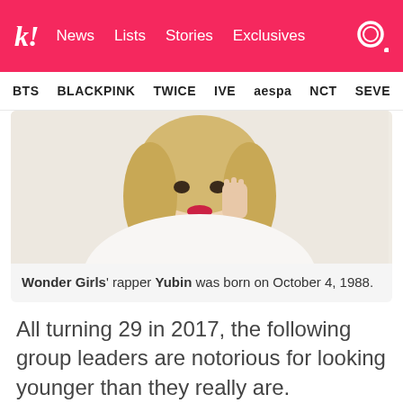k! News Lists Stories Exclusives
BTS BLACKPINK TWICE IVE aespa NCT SEVE
[Figure (photo): Photo of Wonder Girls rapper Yubin - blonde hair, red lips, white fluffy outfit, posing with hand near face]
Wonder Girls' rapper Yubin was born on October 4, 1988.
All turning 29 in 2017, the following group leaders are notorious for looking younger than they really are.
[Figure (photo): Photo of a person with pink/lavender hair, outdoors with green foliage background]